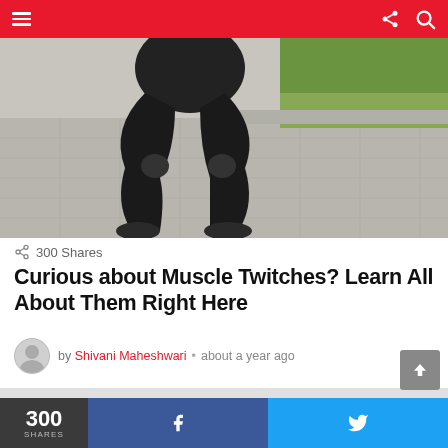[Figure (photo): Person in black athletic wear squatting on outdoor pavement, viewed from knees down, with greenery in background]
300 Shares
Curious about Muscle Twitches? Learn All About Them Right Here
by Shivani Maheshwari • about a year ago
[Figure (photo): Second article image placeholder (gray)]